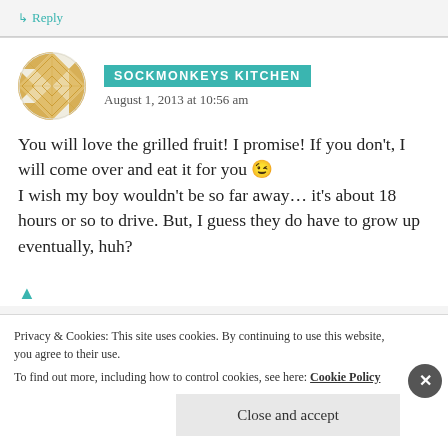↳ Reply
SOCKMONKEYS KITCHEN
August 1, 2013 at 10:56 am
You will love the grilled fruit! I promise! If you don't, I will come over and eat it for you 😉 I wish my boy wouldn't be so far away… it's about 18 hours or so to drive. But, I guess they do have to grow up eventually, huh?
Privacy & Cookies: This site uses cookies. By continuing to use this website, you agree to their use.
To find out more, including how to control cookies, see here: Cookie Policy
Close and accept